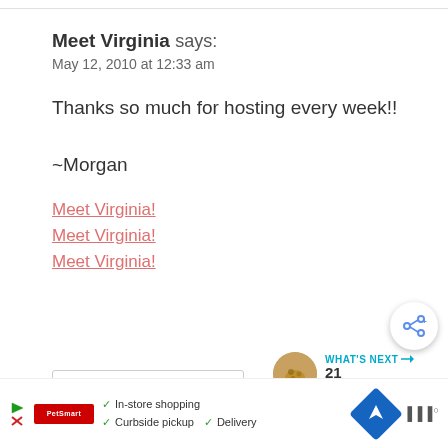Meet Virginia says:
May 12, 2010 at 12:33 am
Thanks so much for hosting every week!!

~Morgan
Meet Virginia!
Meet Virginia!
Meet Virginia!
Reply
[Figure (other): Share button - circular button with share icon]
WHAT'S NEXT → 21 THANKSGIVINI...
[Figure (other): Advertisement bar: Retailer ad with checkmarks for In-store shopping, Curbside pickup, Delivery, navigation icon, and audio wave icon]